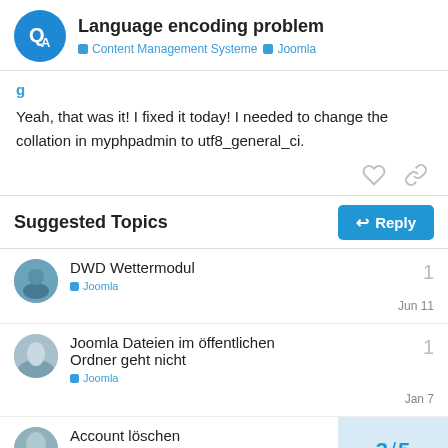Language encoding problem
Content Management Systeme  Joomla
Yeah, that was it! I fixed it today! I needed to change the collation in myphpadmin to utf8_general_ci.
Suggested Topics
DWD Wettermodul
Joomla
Jun 11
1
Joomla Dateien im öffentlichen Ordner geht nicht
Joomla
Jan 7
1
Account löschen
Allgemeiner Support
3 / 5